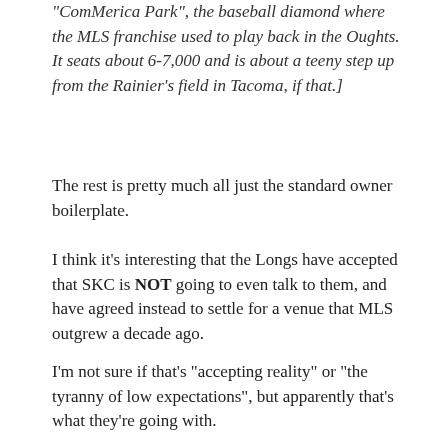“ComMerica Park”, the baseball diamond where the MLS franchise used to play back in the Oughts. It seats about 6-7,000 and is about a teeny step up from the Rainier’s field in Tacoma, if that.]
The rest is pretty much all just the standard owner boilerplate.
I think it’s interesting that the Longs have accepted that SKC is NOT going to even talk to them, and have agreed instead to settle for a venue that MLS outgrew a decade ago.
I’m not sure if that’s “accepting reality” or “the tyranny of low expectations”, but apparently that’s what they’re going with.